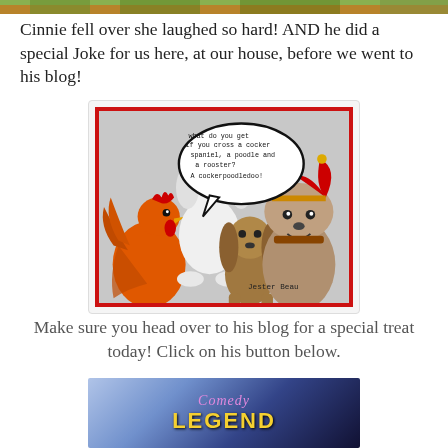[Figure (photo): Partial top strip of an outdoor/animal photo cropped at top edge]
Cinnie fell over she laughed so hard! AND he did a special Joke for us here, at our house, before we went to his blog!
[Figure (illustration): Comic illustration of dogs and a rooster with speech bubble reading: 'what do you get if you cross a cocker spaniel, a poodle and a rooster? A cockerpoodledoo!' Labeled 'Jester Beau'. Features a white poodle, orange rooster, brown cocker spaniel, and a dog wearing a red jester hat.]
Make sure you head over to his blog for a special treat today! Click on his button below.
[Figure (photo): Comedy Legend logo/button image with blue/purple background and glowing text reading 'Comedy LEGEND']